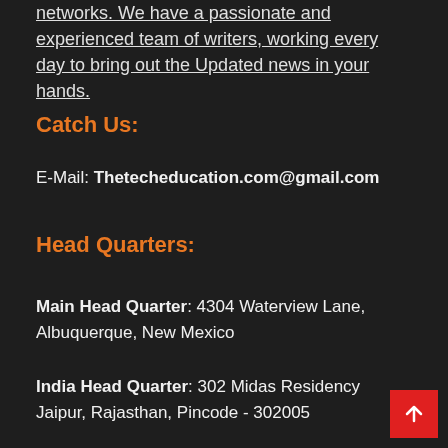networks. We have a passionate and experienced team of writers, working every day to bring out the Updated news in your hands.
Catch Us:
E-Mail: Thetecheducation.com@gmail.com
Head Quarters:
Main Head Quarter: 4304 Waterview Lane, Albuquerque, New Mexico
India Head Quarter: 302 Midas Residency Jaipur, Rajasthan, Pincode - 302005